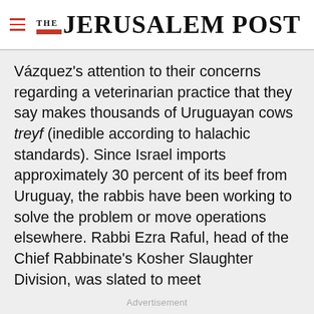THE JERUSALEM POST
Vázquez's attention to their concerns regarding a veterinarian practice that they say makes thousands of Uruguayan cows treyf (inedible according to halachic standards). Since Israel imports approximately 30 percent of its beef from Uruguay, the rabbis have been working to solve the problem or move operations elsewhere. Rabbi Ezra Raful, head of the Chief Rabbinate's Kosher Slaughter Division, was slated to meet
Advertisement